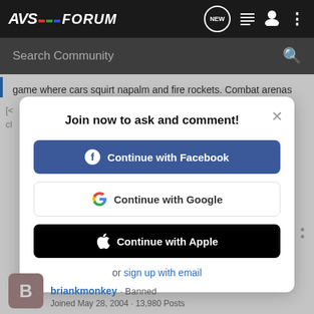[Figure (screenshot): AVS Forum website navigation bar with logo, NEW message icon, list icon, user icon, and more options icon]
Search Community
game where cars squirt napalm and fire rockets. Combat arenas
Join now to ask and comment!
Continue with Facebook
Continue with Google
Continue with Apple
or sign up with email
briankmonkey · Banned
Joined May 28, 2004 · 13,980 Posts